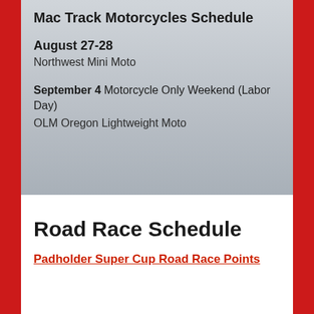Mac Track Motorcycles Schedule
August 27-28
Northwest Mini Moto
September 4 Motorcycle Only Weekend (Labor Day)
OLM Oregon Lightweight Moto
Road Race Schedule
Padholder Super Cup Road Race Points